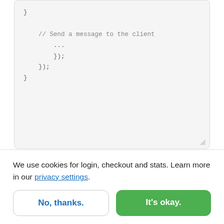[Figure (screenshot): Code block showing closing braces of a JavaScript function with a comment '// Send a message to the client' and ellipsis, followed by }); }); } closing brackets.]
Finally, we need to update the CORS configuration in the .htaccess file. Because service workers in
We use cookies for login, checkout and stats. Learn more in our privacy settings.
No, thanks.
It's okay.